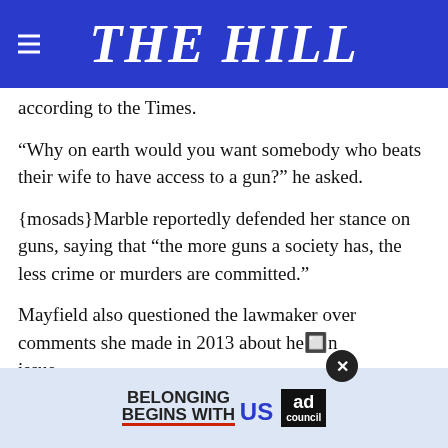THE HILL
according to the Times.
“Why on earth would you want somebody who beats their wife to have access to a gun?” he asked.
{mosads}Marble reportedly defended her stance on guns, saying that “the more guns a society has, the less crime or murders are committed.”
Mayfield also questioned the lawmaker over comments she made in 2013 about he…n issue